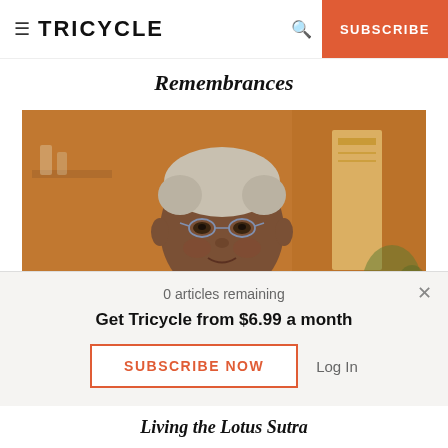≡ TRICYCLE  🔍  SUBSCRIBE
Remembrances
[Figure (photo): Elderly Black woman wearing glasses and dark Buddhist robes with a white sash, seated in front of a warm orange background with a scroll visible behind her. She appears to be speaking or gesturing gently.]
0 articles remaining
Get Tricycle from $6.99 a month
SUBSCRIBE NOW   Log In
Living the Lotus Sutra